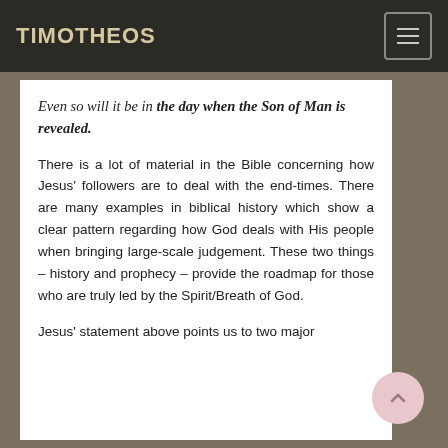TIMOTHEOS
Even so will it be in the day when the Son of Man is revealed.
There is a lot of material in the Bible concerning how Jesus' followers are to deal with the end-times. There are many examples in biblical history which show a clear pattern regarding how God deals with His people when bringing large-scale judgement. These two things – history and prophecy – provide the roadmap for those who are truly led by the Spirit/Breath of God.
Jesus' statement above points us to two major